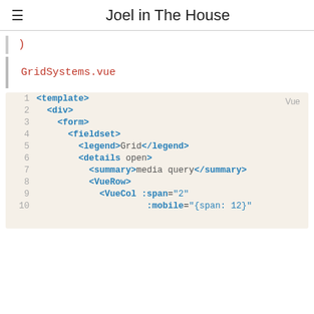Joel in The House
)
GridSystems.vue
[Figure (screenshot): Code block showing Vue template code for GridSystems.vue with syntax highlighting. Lines 1-10 visible. Language label 'Vue' in top right. Code includes: <template>, <div>, <form>, <fieldset>, <legend>Grid</legend>, <details open>, <summary>media query</summary>, <VueRow>, <VueCol :span="2", :mobile="{span: 12}"]